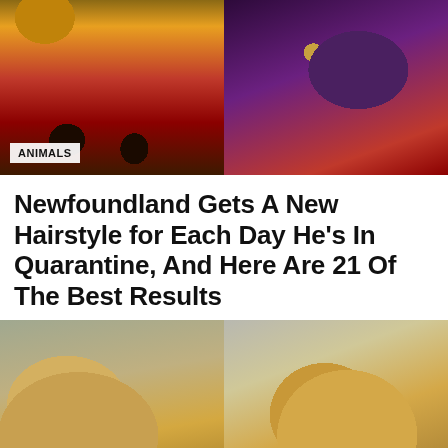[Figure (photo): Two photos side by side at top: left shows a small animal (cat/dog) wearing a yellow outfit on a red surface near a wooden table; right shows a large fluffy dark purple/black dog wearing a beaded necklace on a red background.]
ANIMALS
Newfoundland Gets A New Hairstyle for Each Day He’s In Quarantine, And Here Are 21 Of The Best Results
[Figure (photo): Two photos side by side at bottom: left shows a golden/yellow dog in profile with a black leash, parked red car and trees in background; right shows the same or similar golden dog lying down on a concrete surface, eyes partially closed.]